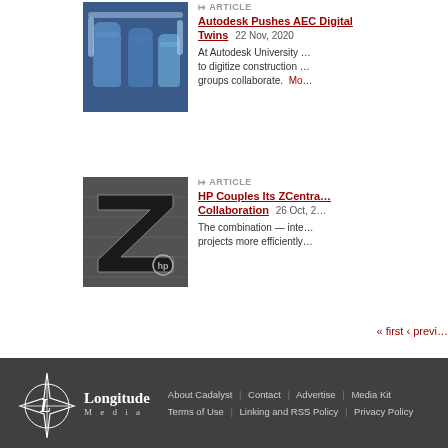[Figure (photo): Blue 3D mechanical/robot figures illustration for Autodesk article]
ARTICLE
Autodesk Pushes AEC Digital Twins  22 Nov, 2020
At Autodesk University ... to digitize construction ... groups collaborate.  Mo...
[Figure (photo): HP ZCentral logo - bold Z letter on dark metallic background with HP logo]
ARTICLE
HP Couples Its ZCentra... Collaboration  26 Oct, 2...
The combination — inte... projects more efficiently...
« first ‹ previ...
[Figure (logo): Longitude Media compass logo in white on dark footer]
About Cadalyst | Contact | Advertise | Media Kit
Terms of Use | Linking and RSS Policy | Privacy Policy